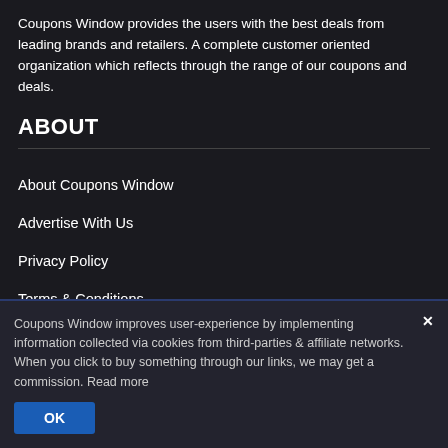Coupons Window provides the users with the best deals from leading brands and retailers. A complete customer oriented organization which reflects through the range of our coupons and deals.
ABOUT
About Coupons Window
Advertise With Us
Privacy Policy
Terms & Conditions
Coupons Window improves user-experience by implementing information collected via cookies from third-parties & affiliate networks. When you click to buy something through our links, we may get a commission. Read more
OK